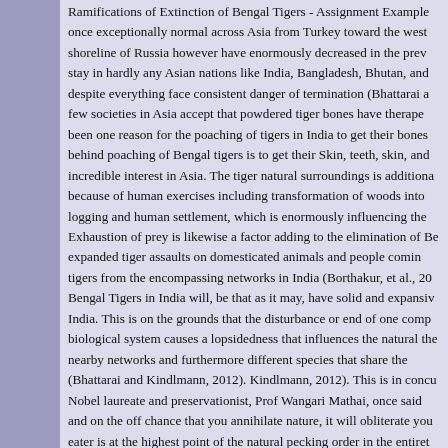Ramifications of Extinction of Bengal Tigers - Assignment Example once exceptionally normal across Asia from Turkey toward the west shoreline of Russia however have enormously decreased in the prev stay in hardly any Asian nations like India, Bangladesh, Bhutan, and despite everything face consistent danger of termination (Bhattarai a few societies in Asia accept that powdered tiger bones have therape been one reason for the poaching of tigers in India to get their bones behind poaching of Bengal tigers is to get their Skin, teeth, skin, and incredible interest in Asia. The tiger natural surroundings is additiona because of human exercises including transformation of woods into logging and human settlement, which is enormously influencing the Exhaustion of prey is likewise a factor adding to the elimination of Be expanded tiger assaults on domesticated animals and people comin tigers from the encompassing networks in India (Borthakur, et al., 20 Bengal Tigers in India will, be that as it may, have solid and expansiv India. This is on the grounds that the disturbance or end of one comp biological system causes a lopsidedness that influences the natural the nearby networks and furthermore different species that share the (Bhattarai and Kindlmann, 2012). Kindlmann, 2012). This is in concu Nobel laureate and preservationist, Prof Wangari Mathai, once said and on the off chance that you annihilate nature, it will obliterate you eater is at the highest point of the natural pecking order in the entiret assists with keeping the number of inhabitants in its prey, the vast...